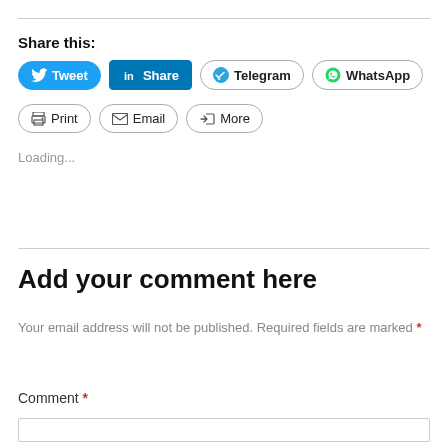Share this:
[Figure (screenshot): Social share buttons: Tweet (Twitter/blue), Share (LinkedIn/blue), Telegram, WhatsApp, Print, Email, More]
Loading...
Add your comment here
Your email address will not be published. Required fields are marked *
Comment *